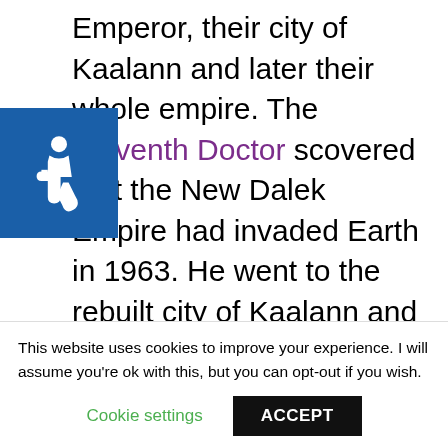Emperor, their city of Kaalann and later their whole empire. The Eleventh Doctor discovered that the New Dalek Empire had invaded Earth in 1963. He went to the rebuilt city of Kaalann and discovered that the Daleks had found the Eye of Time, a Time Lord device that helped them alter Earth's timeline. Using the Eye, The Doctor travelled to Kaalann in its ruined state before the return of the
This website uses cookies to improve your experience. I will assume you're ok with this, but you can opt-out if you wish.
Cookie settings   ACCEPT